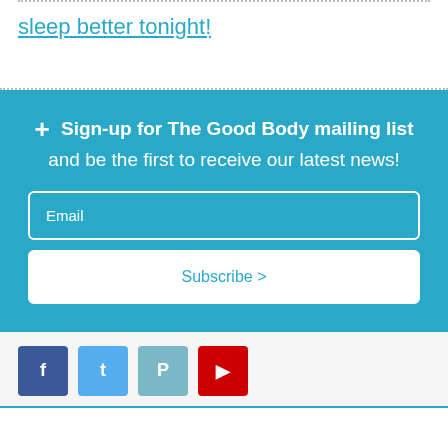sleep better tonight!
+ Sign-up for The Good Body mailing list and be the first to receive our latest news!
[Figure (screenshot): Email input field with placeholder text 'Email' and white border on teal background]
[Figure (screenshot): Subscribe > button, white background with teal text]
[Figure (infographic): Social media icons row: Facebook (dark blue), Twitter (light blue), Pinterest (muted teal), YouTube (red), each as a square icon button]